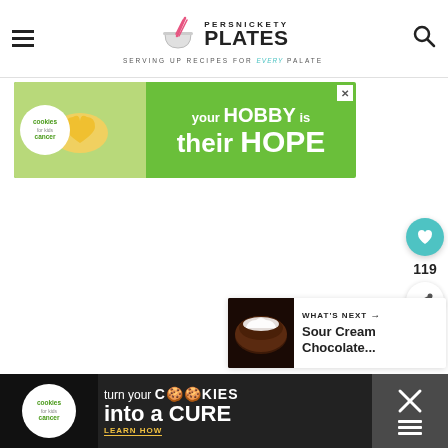Persnickety Plates — Serving up recipes for every palate
[Figure (screenshot): Advertisement banner: Cookies for Kids Cancer — your HOBBY is their HOPE, with green background and cookie image]
[Figure (screenshot): Favorite/heart button (teal circle with heart icon) showing count 119, and share button below]
[Figure (screenshot): What's Next widget showing Sour Cream Chocolate... with a thumbnail image]
[Figure (screenshot): Bottom advertisement banner: Cookies for Kids Cancer — turn your COOKIES into a CURE LEARN HOW, dark background]